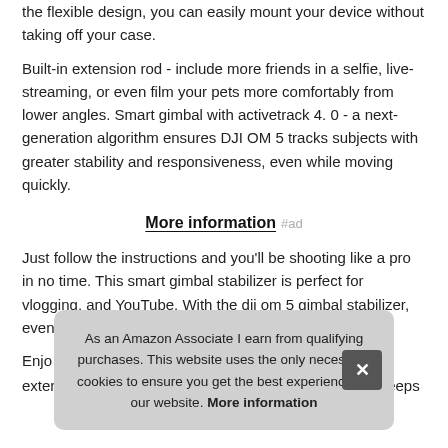the flexible design, you can easily mount your device without taking off your case.
Built-in extension rod - include more friends in a selfie, live-streaming, or even film your pets more comfortably from lower angles. Smart gimbal with activetrack 4. 0 - a next-generation algorithm ensures DJI OM 5 tracks subjects with greater stability and responsiveness, even while moving quickly.
More information #ad
Just follow the instructions and you'll be shooting like a pro in no time. This smart gimbal stabilizer is perfect for vlogging, and YouTube. With the dji om 5 gimbal stabilizer, even first-time
Enjo and externallens added, DJI OM 5s powerful 3-axis motor keeps
As an Amazon Associate I earn from qualifying purchases. This website uses the only necessary cookies to ensure you get the best experience on our website. More information